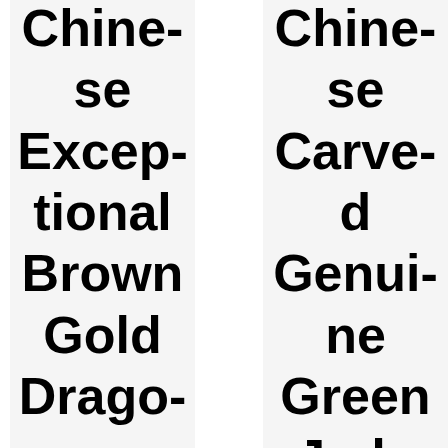Chinese Exceptional Brown Gold Dragon
Chinese Carved Genuine Green Jade Drago